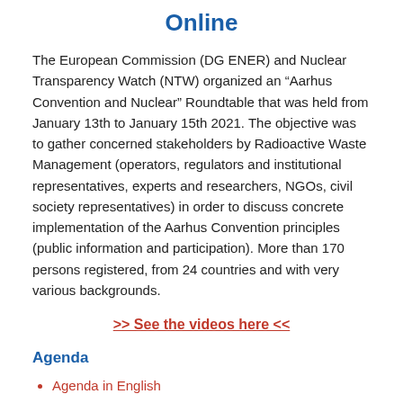Online
The European Commission (DG ENER) and Nuclear Transparency Watch (NTW) organized an “Aarhus Convention and Nuclear” Roundtable that was held from January 13th to January 15th 2021. The objective was to gather concerned stakeholders by Radioactive Waste Management (operators, regulators and institutional representatives, experts and researchers, NGOs, civil society representatives) in order to discuss concrete implementation of the Aarhus Convention principles (public information and participation). More than 170 persons registered, from 24 countries and with very various backgrounds.
>> See the videos here <<
Agenda
Agenda in English